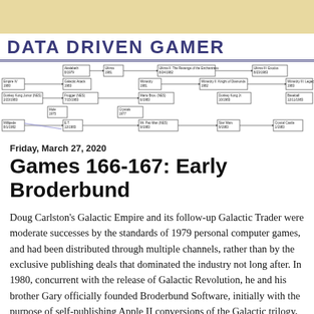[Figure (flowchart): Game timeline/flowchart showing various video games from the early 1980s including Galactic Empire, Empire IV, Donkey Kong Junior, Mole, Millipede, Ultima II, Galactic Attack, Frogger, Donkey Kong Jr, Crystals, E.T., Wizardry, Mario Bros, Mr. Pac-Man, Star Wars, Crystal Castle and others connected with arrows]
Friday, March 27, 2020
Games 166-167: Early Broderbund
Doug Carlston’s Galactic Empire and its follow-up Galactic Trader were moderate successes by the standards of 1979 personal computer games, and had been distributed through multiple channels, rather than by the exclusive publishing deals that dominated the industry not long after. In 1980, concurrent with the release of Galactic Revolution, he and his brother Gary officially founded Broderbund Software, initially with the purpose of self-publishing Apple II conversions of the Galactic trilogy, which later became a tetralogy with the Apple-exclusive Tawala’s Last Redoubt.